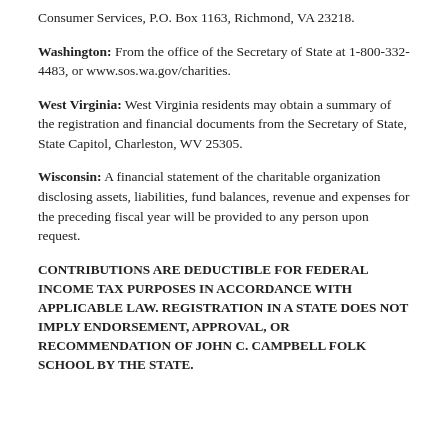Consumer Services, P.O. Box 1163, Richmond, VA 23218.
Washington: From the office of the Secretary of State at 1-800-332-4483, or www.sos.wa.gov/charities.
West Virginia: West Virginia residents may obtain a summary of the registration and financial documents from the Secretary of State, State Capitol, Charleston, WV 25305.
Wisconsin: A financial statement of the charitable organization disclosing assets, liabilities, fund balances, revenue and expenses for the preceding fiscal year will be provided to any person upon request.
CONTRIBUTIONS ARE DEDUCTIBLE FOR FEDERAL INCOME TAX PURPOSES IN ACCORDANCE WITH APPLICABLE LAW. REGISTRATION IN A STATE DOES NOT IMPLY ENDORSEMENT, APPROVAL, OR RECOMMENDATION OF JOHN C. CAMPBELL FOLK SCHOOL BY THE STATE.